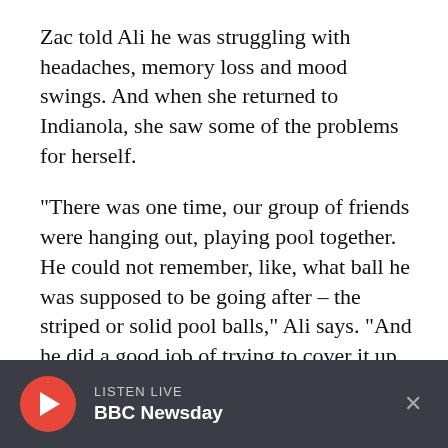Zac told Ali he was struggling with headaches, memory loss and mood swings. And when she returned to Indianola, she saw some of the problems for herself.
"There was one time, our group of friends were hanging out, playing pool together. He could not remember, like, what ball he was supposed to be going after – the striped or solid pool balls," Ali says. "And he did a good job of trying to cover it up and blame it on – we had been drinking – so blaming it on the drinking, but he truly could not remember.
LISTEN LIVE BBC Newsday